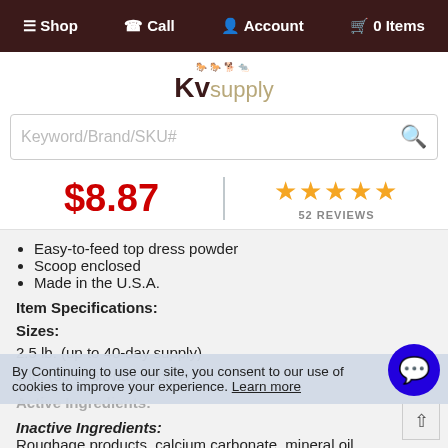≡ Shop  ☎ Call  👤 Account  🛒 0 Items
[Figure (logo): KV Supply logo with animal icons]
Keyword/Brand/SKU#
$8.87
52 REVIEWS
Easy-to-feed top dress powder
Scoop enclosed
Made in the U.S.A.
Item Specifications:
Sizes:
2.5 lb. (up to 40-day supply)
5 lb. (up to 80-day supply)
Active Ingredients:
By Continuing to use our site, you consent to our use of cookies to improve your experience. Learn more
Inactive Ingredients:
Roughage products, calcium carbonate, mineral oil
Directions for Use: